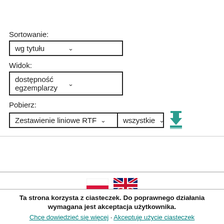Sortowanie:
wg tytułu ▾
Widok:
dostępność egzemplarzy ▾
Pobierz:
Zestawienie liniowe RTF ▾   wszystkie ▾
[Figure (infographic): Polish and UK flag icons]
Ta strona korzysta z ciasteczek. Do poprawnego działania wymagana jest akceptacja użytkownika.
Chcę dowiedzieć się więcej · Akceptuję użycie ciasteczek